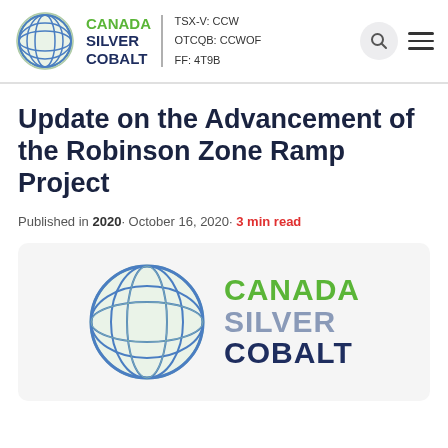Canada Silver Cobalt — TSX-V: CCW | OTCQB: CCWOF | FF: 4T9B
Update on the Advancement of the Robinson Zone Ramp Project
Published in 2020 · October 16, 2020 · 3 min read
[Figure (logo): Canada Silver Cobalt company logo — globe graphic with green and blue/grey lines, beside stacked text CANADA (green), SILVER (grey-blue), COBALT (dark navy)]